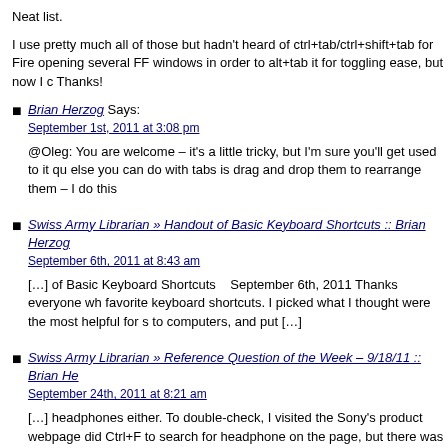Neat list.
I use pretty much all of those but hadn't heard of ctrl+tab/ctrl+shift+tab for Fire opening several FF windows in order to alt+tab it for toggling ease, but now I c Thanks!
Brian Herzog Says: September 1st, 2011 at 3:08 pm
@Oleg: You are welcome – it's a little tricky, but I'm sure you'll get used to it qu else you can do with tabs is drag and drop them to rearrange them – I do this
Swiss Army Librarian » Handout of Basic Keyboard Shortcuts :: Brian Herzog September 6th, 2011 at 8:43 am
[…] of Basic Keyboard Shortcuts   September 6th, 2011 Thanks everyone wh favorite keyboard shortcuts. I picked what I thought were the most helpful for s to computers, and put […]
Swiss Army Librarian » Reference Question of the Week – 9/18/11 :: Brian He September 24th, 2011 at 8:21 am
[…] headphones either. To double-check, I visited the Sony's product webpage did Ctrl+F to search for headphone on the page, but there was no mention – a product images, […]
Jon Says: June 28th, 2012 at 5:12 pm